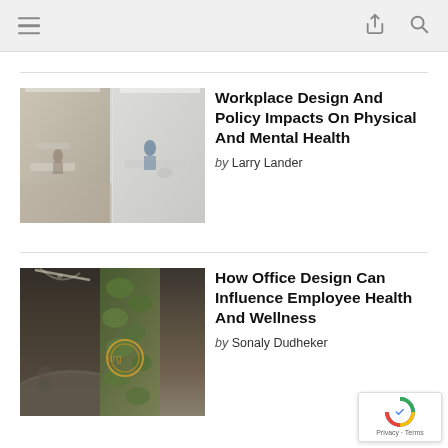Navigation bar with menu, share and search icons
[Figure (photo): Modern open-plan office with glass partitions, white furniture and people working]
Workplace Design And Policy Impacts On Physical And Mental Health
by Larry Lander
[Figure (photo): Biophilic office reception area with living green wall and curved white reception desk]
How Office Design Can Influence Employee Health And Wellness
by Sonaly Dudheker